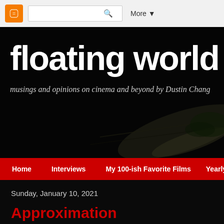[Figure (screenshot): Blogger navigation bar with orange logo, search box, and More dropdown button]
[Figure (photo): Dark hero banner with large white bold text 'floating world' and italic subtitle 'musings and opinions on cinema and beyond by Dustin Chang' over a dark background with faint image of light on textured surface]
Home | Interviews | My 100-ish Favorite Films | Yearly To
Sunday, January 10, 2021
Approximation
Peppermint Frappé (1967) - Saura